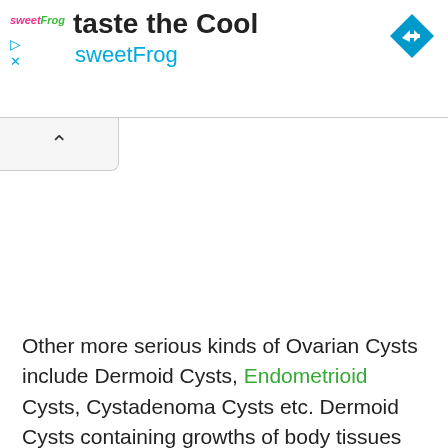[Figure (other): Advertisement banner for sweetFrog frozen yogurt with logo, title text 'taste the Cool', brand name 'sweetFrog', navigation arrow icon, and ad control buttons (play, close)]
Other more serious kinds of Ovarian Cysts include Dermoid Cysts, Endometrioid Cysts, Cystadenoma Cysts etc. Dermoid Cysts containing growths of body tissues like fat,